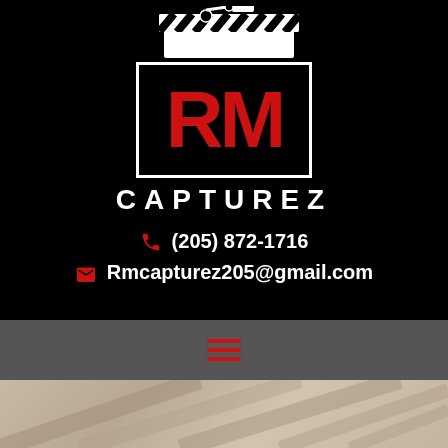[Figure (logo): RM Capturez logo with clapperboard icon above a bordered box containing red 'RM' letters, and 'CAPTUREZ' in white block letters below, all on black background]
(205) 872-1716
Rmcapturez205@gmail.com
[Figure (other): Gray navigation bar with three red horizontal hamburger menu lines]
[Figure (photo): Partial photo of ceiling or architectural structure at the bottom of the page]